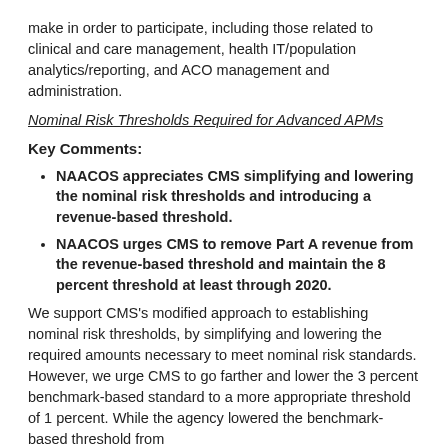make in order to participate, including those related to clinical and care management, health IT/population analytics/reporting, and ACO management and administration.
Nominal Risk Thresholds Required for Advanced APMs
Key Comments:
NAACOS appreciates CMS simplifying and lowering the nominal risk thresholds and introducing a revenue-based threshold.
NAACOS urges CMS to remove Part A revenue from the revenue-based threshold and maintain the 8 percent threshold at least through 2020.
We support CMS’s modified approach to establishing nominal risk thresholds, by simplifying and lowering the required amounts necessary to meet nominal risk standards. However, we urge CMS to go farther and lower the 3 percent benchmark-based standard to a more appropriate threshold of 1 percent. While the agency lowered the benchmark-based threshold from